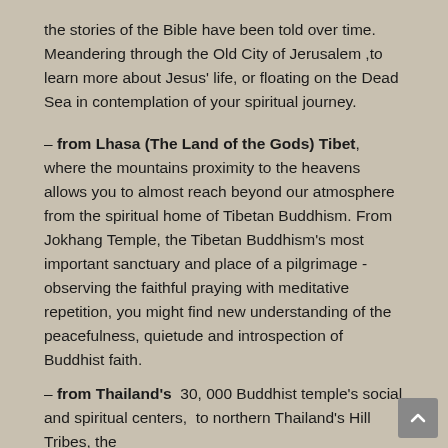the stories of the Bible have been told over time. Meandering through the Old City of Jerusalem ,to learn more about Jesus' life, or floating on the Dead Sea in contemplation of your spiritual journey.
– from Lhasa (The Land of the Gods) Tibet, where the mountains proximity to the heavens allows you to almost reach beyond our atmosphere  from the spiritual home of Tibetan Buddhism. From Jokhang Temple, the Tibetan Buddhism's most important sanctuary and place of a pilgrimage -observing the faithful praying with meditative repetition, you might find new understanding of the peacefulness, quietude and introspection of Buddhist faith.
– from Thailand's  30, 000 Buddhist temple's social and spiritual centers,  to northern Thailand's Hill Tribes, the